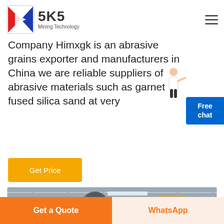[Figure (logo): SKS Mining Technology logo with red and blue shield emblem and company name]
Company Himxgk is an abrasive grains exporter and manufacturers in China we are reliable suppliers of abrasive materials such as garnet fused silica sand at very
[Figure (illustration): Free chat widget with female advisor figure and blue button labeled 'Free chat']
Get Price
[Figure (photo): Industrial factory interior showing large machinery and ceiling structure]
Get a Quote
WhatsApp